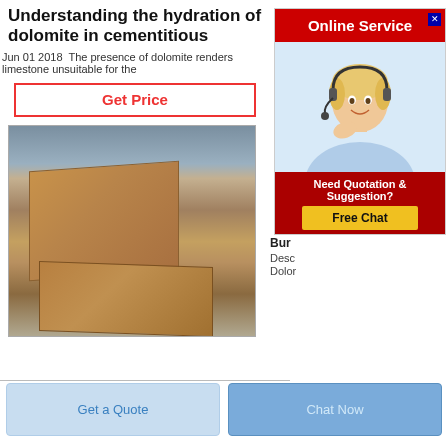Understanding the hydration of dolomite in cementitious
Jun 01 2018  The presence of dolomite renders limestone unsuitable for the
Get Price
[Figure (photo): Two brown/orange firebrick blocks stacked in an industrial warehouse setting, wrapped in plastic sheeting]
Bur
Desc
Dolor
[Figure (infographic): Online Service advertisement banner with red header, photo of female customer service agent with headset, and a Need Quotation & Suggestion? Free Chat button]
Get a Quote
Chat Now